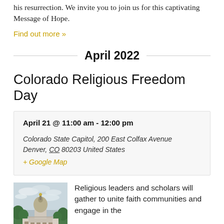his resurrection. We invite you to join us for this captivating Message of Hope.
Find out more »
April 2022
Colorado Religious Freedom Day
| April 21 @ 11:00 am - 12:00 pm |
| Colorado State Capitol, 200 East Colfax Avenue Denver, CO 80203 United States |
| + Google Map |
[Figure (photo): Photo of the Colorado State Capitol building with dome, surrounded by trees, cloudy sky]
Religious leaders and scholars will gather to unite faith communities and engage in the